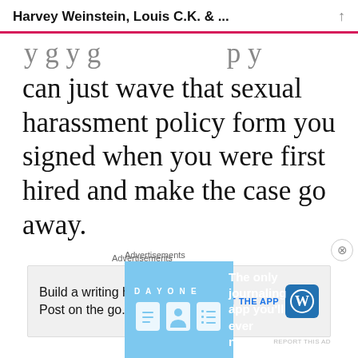Harvey Weinstein, Louis C.K. & ...
y g y g p y can just wave that sexual harassment policy form you signed when you were first hired and make the case go away.
Advertisements
[Figure (screenshot): WordPress ad: Build a writing habit. Post on the go. GET THE APP with WordPress logo]
In such an environment, you fight th
Advertisements
[Figure (screenshot): Day One journaling app ad: The only journaling app you'll ever need.]